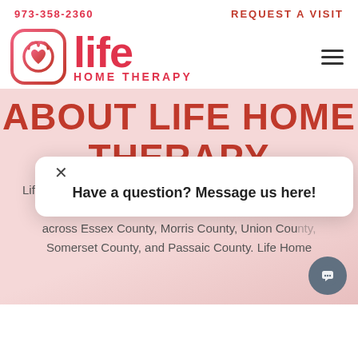973-358-2360    REQUEST A VISIT
[Figure (logo): Life Home Therapy logo: rounded square icon with heart and stethoscope, pink-to-red gradient, beside large 'life' text and 'HOME THERAPY' subtitle in red]
ABOUT LIFE HOME THERAPY
Have a question? Message us here!
Life Home Therapy is an occupational therapy practice based in Livingston, New Jersey, that provides home visits to patients across Essex County, Morris County, Union County, Somerset County, and Passaic County. Life Home